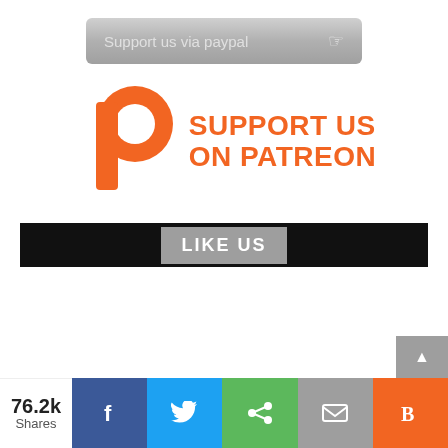[Figure (screenshot): Gray rounded button labeled 'Support us via paypal' with a hand/cursor icon]
[Figure (logo): Patreon logo with orange P icon and text 'SUPPORT US ON PATREON' in orange]
[Figure (screenshot): Black bar with gray badge reading 'LIKE US']
76.2k Shares
[Figure (screenshot): Social share bar with Facebook, Twitter, Share, Email, and Blogger buttons]